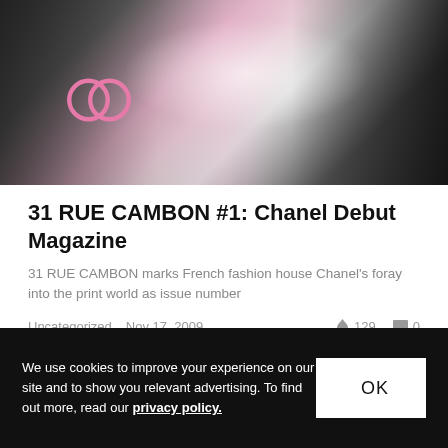[Figure (photo): A photo showing Chanel magazine covers with pink Chanel logo and black-and-white fashion photography]
31 RUE CAMBON #1: Chanel Debut Magazine
31 RUE CAMBON marks French fashion house Chanel's foray into the print world as issue number
Uncategorized   Nov 17, 2009   🔥 129   💬 0
We use cookies to improve your experience on our site and to show you relevant advertising. To find out more, read our privacy policy.